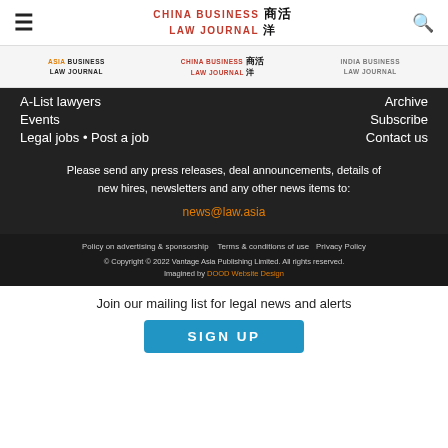CHINA BUSINESS LAW JOURNAL
[Figure (logo): Sub-header with three logos: Asia Business Law Journal, China Business Law Journal, India Business Law Journal]
A-List lawyers
Archive
Events
Subscribe
Legal jobs • Post a job
Contact us
Please send any press releases, deal announcements, details of new hires, newsletters and any other news items to: news@law.asia
Policy on advertising & sponsorship  Terms & conditions of use  Privacy Policy  © Copyright © 2022 Vantage Asia Publishing Limited. All rights reserved. Imagined by DOOD Website Design
Join our mailing list for legal news and alerts
SIGN UP